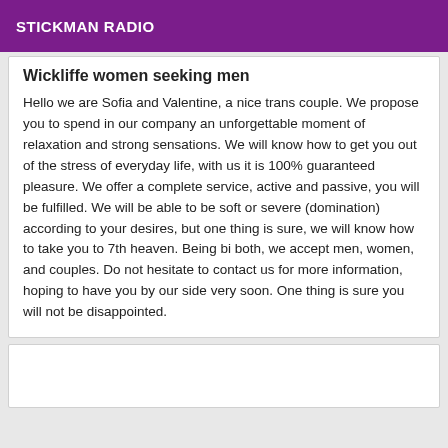STICKMAN RADIO
Wickliffe women seeking men
Hello we are Sofia and Valentine, a nice trans couple. We propose you to spend in our company an unforgettable moment of relaxation and strong sensations. We will know how to get you out of the stress of everyday life, with us it is 100% guaranteed pleasure. We offer a complete service, active and passive, you will be fulfilled. We will be able to be soft or severe (domination) according to your desires, but one thing is sure, we will know how to take you to 7th heaven. Being bi both, we accept men, women, and couples. Do not hesitate to contact us for more information, hoping to have you by our side very soon. One thing is sure you will not be disappointed.